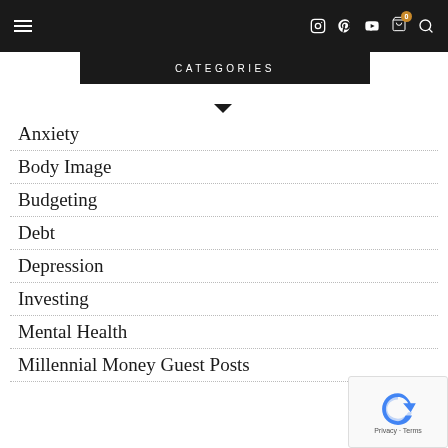Navigation bar with hamburger menu, social icons (Instagram, Pinterest, YouTube), cart with 0 items, and search icon
CATEGORIES
Anxiety
Body Image
Budgeting
Debt
Depression
Investing
Mental Health
Millennial Money Guest Posts